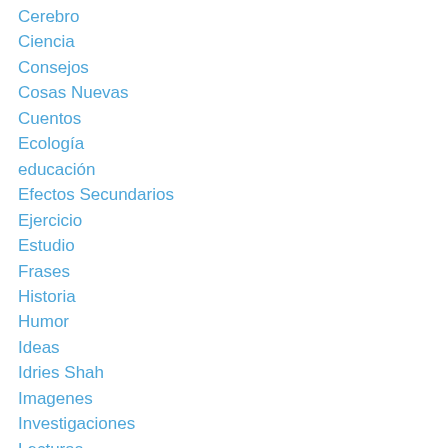Cerebro
Ciencia
Consejos
Cosas Nuevas
Cuentos
Ecología
educación
Efectos Secundarios
Ejercicio
Estudio
Frases
Historia
Humor
Ideas
Idries Shah
Imagenes
Investigaciones
Lecturas
Música
Medicina